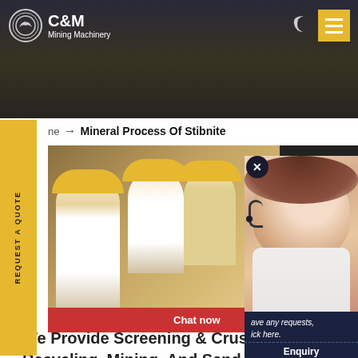[Figure (screenshot): C&M Mining Machinery website header with dark background showing mining equipment, logo with eagle icon, moon icon and yellow hamburger menu button]
ne → Mineral Process Of Stibnite
[Figure (screenshot): Live chat popup showing workers in yellow hard hats on left, red LIVE CHAT text with Click for a Free Consultation, Chat now and Chat later buttons]
[Figure (photo): Female customer service consultant wearing headset, smiling, with dark sidebar showing requests text and Quotation button]
CRUSHING | SCREENING | WASHING
We Provide Screening & Crushing Equipment To Serve The Quarry, Construction, Recycling, Mining, And Sand
ave any requests, ick here.
Quotation
Enquiry
drobilkalm @gmail.com